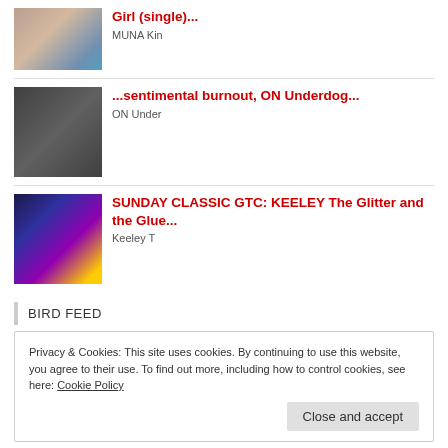Girl (single)... | MUNA Kin
...sentimental burnout, ON Underdog... | ON Under
SUNDAY CLASSIC GTC: KEELEY The Glitter and the Glue... | Keeley T
BIRD FEED
Privacy & Cookies: This site uses cookies. By continuing to use this website, you agree to their use. To find out more, including how to control cookies, see here: Cookie Policy
Close and accept